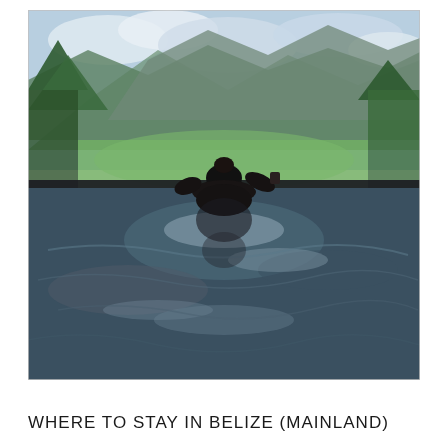[Figure (photo): Person seen from behind, silhouetted, sitting in an infinity pool holding a drink, overlooking a lush green tropical valley with mountains and cloudy sky in the background. The water reflects the sky and surrounding scenery.]
WHERE TO STAY IN BELIZE (MAINLAND)